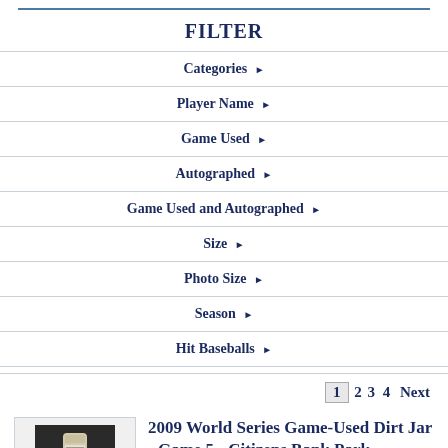FILTER
Categories ▶
Player Name ▶
Game Used ▶
Autographed ▶
Game Used and Autographed ▶
Size ▶
Photo Size ▶
Season ▶
Hit Baseballs ▶
1  2  3  4  Next
[Figure (photo): Product photo of a dirt jar from the 2009 World Series]
2009 World Series Game-Used Dirt Jar - Game 5 - Citizens Bank Park